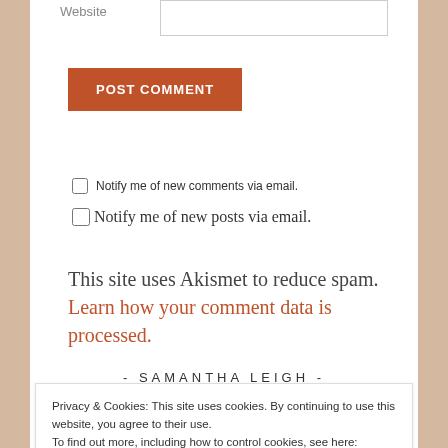Website
POST COMMENT
Notify me of new comments via email.
Notify me of new posts via email.
This site uses Akismet to reduce spam. Learn how your comment data is processed.
- SAMANTHA LEIGH -
Privacy & Cookies: This site uses cookies. By continuing to use this website, you agree to their use. To find out more, including how to control cookies, see here: Cookie Policy
Close and accept